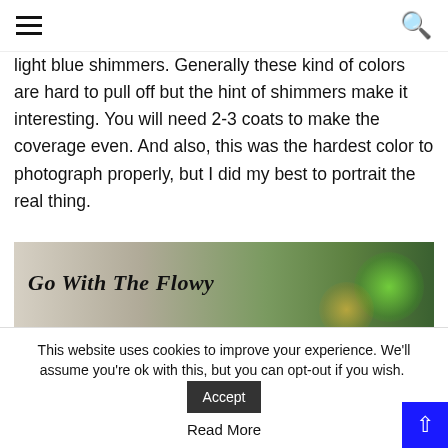≡ [menu] [search]
light blue shimmers. Generally these kind of colors are hard to pull off but the hint of shimmers make it interesting. You will need 2-3 coats to make the coverage even. And also, this was the hardest color to photograph properly, but I did my best to portrait the real thing.
[Figure (photo): Photo of a white nail polish bottle labeled 'Go With The Flowy' on a light background with blurred Christmas tree bokeh lights in green and gold in the background, and sandy decorative elements in the foreground.]
This website uses cookies to improve your experience. We'll assume you're ok with this, but you can opt-out if you wish. Accept
Read More